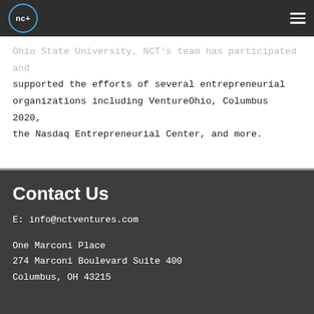nc+
Ohio State University, NCT's team has participated and supported the efforts of several entrepreneurial organizations including VentureOhio, Columbus 2020, the Nasdaq Entrepreneurial Center, and more.
Contact Us
E: info@nctventures.com
One Marconi Place
274 Marconi Boulevard Suite 400
Columbus, OH 43215